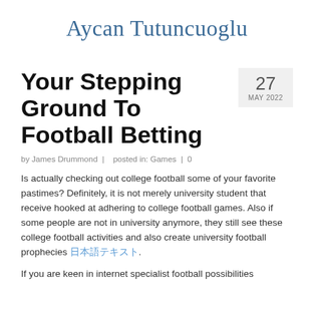Aycan Tutuncuoglu
Your Stepping Ground To Football Betting
27 MAY 2022
by James Drummond | posted in: Games | 0
Is actually checking out college football some of your favorite pastimes? Definitely, it is not merely university student that receive hooked at adhering to college football games. Also if some people are not in university anymore, they still see these college football activities and also create university football prophecies 日本語テキスト.
If you are keen in internet specialist football possibilities